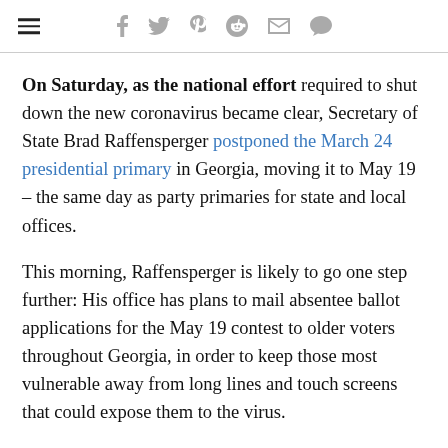≡  f  𝕏  p  𝕣  ✉  💬
On Saturday, as the national effort required to shut down the new coronavirus became clear, Secretary of State Brad Raffensperger postponed the March 24 presidential primary in Georgia, moving it to May 19 – the same day as party primaries for state and local offices.
This morning, Raffensperger is likely to go one step further: His office has plans to mail absentee ballot applications for the May 19 contest to older voters throughout Georgia, in order to keep those most vulnerable away from long lines and touch screens that could expose them to the virus.
Advertisement